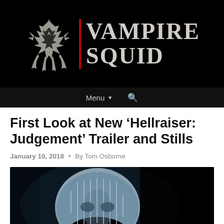[Figure (logo): Vampire Squid website logo: stylized squid/octopus creature icon in light grey on black background, with a vertical red divider bar, and the text 'VAMPIRE SQUID' in large distressed serif font]
Menu ▾  🔍
First Look at New 'Hellraiser: Judgement' Trailer and Stills
January 10, 2018 • By Tom Osborne
[Figure (photo): Dark cinematic still image of Pinhead from Hellraiser: Judgement — a pale humanoid figure with pins/nails arranged in a grid pattern across the face and head, on a dark background]